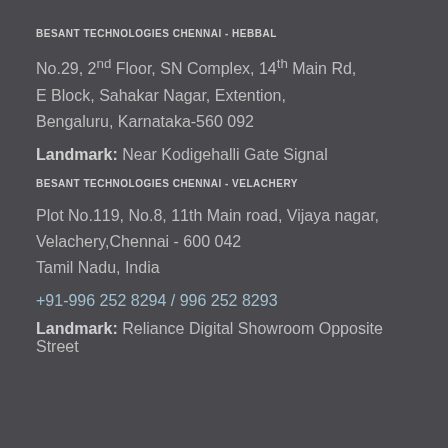BESANT TECHNOLOGIES CHENNAI - HEBBAL
No.29, 2nd Floor, SN Complex, 14th Main Rd,
E Block, Sahakar Nagar, Extention,
Bengaluru, Karnataka-560 092
Landmark: Near Kodigehalli Gate Signal
BESANT TECHNOLOGIES CHENNAI - VELACHERY
Plot No.119, No.8, 11th Main road, Vijaya nagar,
Velachery,Chennai - 600 042
Tamil Nadu, India
+91-996 252 8294 / 996 252 8293
Landmark: Reliance Digital Showroom Opposite Street